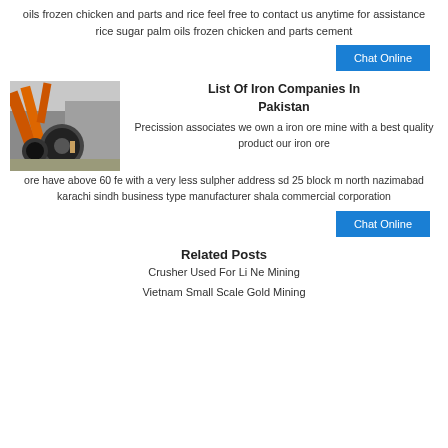oils frozen chicken and parts and rice feel free to contact us anytime for assistance rice sugar palm oils frozen chicken and parts cement
[Figure (other): Blue 'Chat Online' button]
[Figure (photo): Industrial mining or crushing equipment with orange conveyors and machinery outdoors]
List Of Iron Companies In Pakistan
Precission associates we own a iron ore mine with a best quality product our iron ore have above 60 fe with a very less sulpher address sd 25 block m north nazimabad karachi sindh business type manufacturer shala commercial corporation
[Figure (other): Blue 'Chat Online' button]
Related Posts
Crusher Used For Li Ne Mining
Vietnam Small Scale Gold Mining